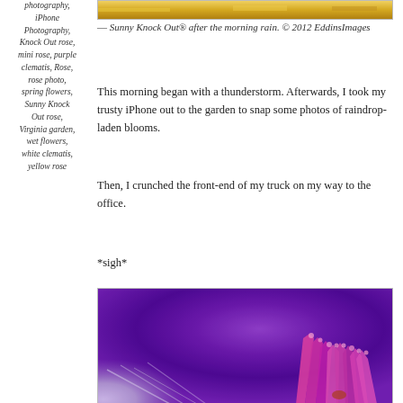photography, iPhone Photography, Knock Out rose, mini rose, purple clematis, Rose, rose photo, spring flowers, Sunny Knock Out rose, Virginia garden, wet flowers, white clematis, yellow rose
[Figure (photo): Close-up photo of yellow rose with water droplets after morning rain, shown at top of page]
— Sunny Knock Out® after the morning rain. © 2012 EddinsImages
This morning began with a thunderstorm. Afterwards, I took my trusty iPhone out to the garden to snap some photos of raindrop-laden blooms.
Then, I crunched the front-end of my truck on my way to the office.
*sigh*
[Figure (photo): Close-up macro photo of purple clematis flower with pink/magenta stamens against deep purple petals with white areas]